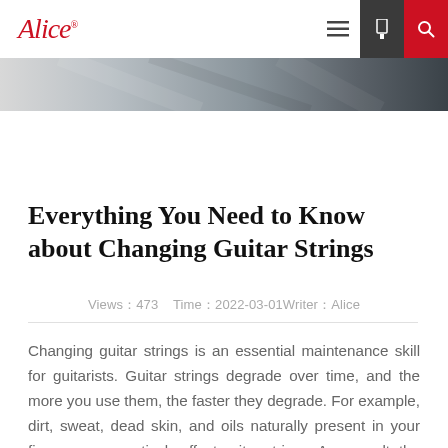Alice® [navigation icons]
[Figure (photo): Partial hero image strip showing a guitar or musician scene in grayscale/blue tones]
Everything You Need to Know about Changing Guitar Strings
Views：473    Time：2022-03-01Writer：Alice
Changing guitar strings is an essential maintenance skill for guitarists. Guitar strings degrade over time, and the more you use them, the faster they degrade. For example, dirt, sweat, dead skin, and oils naturally present in your fingers can negatively affect guitar strings. As a result, the brightness fades...